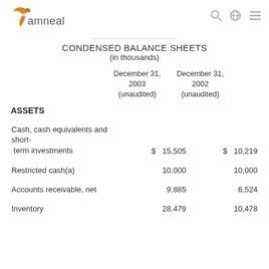amneal
CONDENSED BALANCE SHEETS
(in thousands)
|  | December 31, 2003 (unaudited) | December 31, 2002 (unaudited) |
| --- | --- | --- |
| ASSETS |  |  |
| Cash, cash equivalents and short-term investments | $ 15,505 | $ 10,219 |
| Restricted cash(a) | 10,000 | 10,000 |
| Accounts receivable, net | 9,885 | 6,524 |
| Inventory | 28,479 | 10,478 |